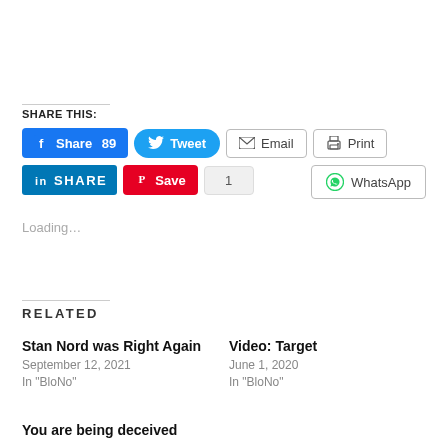SHARE THIS:
[Figure (infographic): Social share buttons row 1: Facebook Share 89, Tweet, Email, Print]
[Figure (infographic): Social share buttons row 2: LinkedIn SHARE, Pinterest Save, count 1, WhatsApp]
Loading...
RELATED
Stan Nord was Right Again
September 12, 2021
In "BloNo"
Video: Target
June 1, 2020
In "BloNo"
You are being deceived